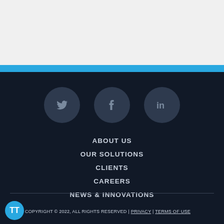[Figure (screenshot): Top white/gray section (header content cropped)]
[Figure (illustration): Blue horizontal bar separator]
[Figure (infographic): Social media icons: Twitter, Facebook, LinkedIn on dark navy background]
ABOUT US
OUR SOLUTIONS
CLIENTS
CAREERS
NEWS & INNOVATIONS
CONTACT US
COPYRIGHT © 2022, ALL RIGHTS RESERVED | PRIVACY | TERMS OF USE
[Figure (logo): TT badge - blue circle with white TT letters]